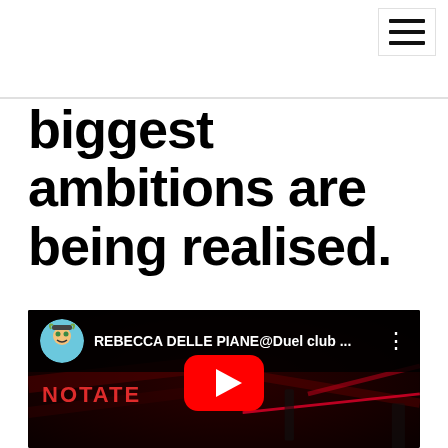☰ (hamburger menu icon)
biggest ambitions are being realised.
[Figure (screenshot): YouTube video embed showing 'REBECCA DELLE PIANE@Duel club ...' with a channel icon, video title, three-dot menu, and a red YouTube play button over a dark nightclub scene with red laser lights and text 'NOTATE' visible in background.]